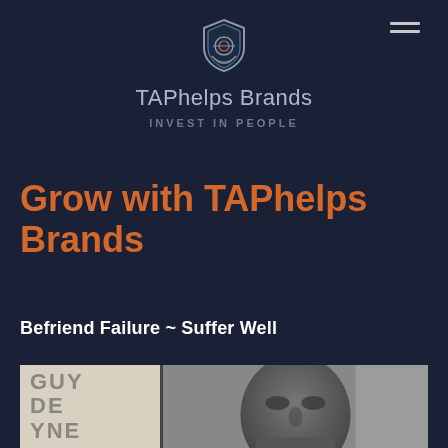[Figure (logo): TAPhelps Brands shield logo with circular elements]
TAPhelps Brands
INVEST IN PEOPLE
Grow with TAPhelps Brands
Befriend Failure ~ Suffer Well
[Figure (photo): Black and white photo showing a man's face in close-up, with a sign reading GUY DE AYNE visible on the left side]